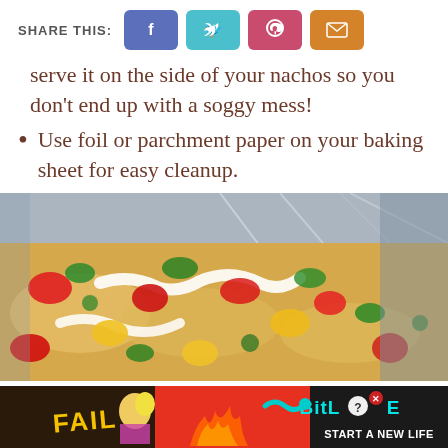SHARE THIS: [Facebook] [Twitter] [Pinterest] [Email]
serve it on the side of your nachos so you don't end up with a soggy mess!
Use foil or parchment paper on your baking sheet for easy cleanup.
[Figure (photo): Nachos with colorful toppings including red and yellow peppers, cilantro, sour cream, on a foil-lined baking sheet]
[Figure (screenshot): BitLife advertisement banner: 'FAIL' text with cartoon character, fire graphic, BitLife logo with question mark, 'START A NEW LIFE' text on black background]